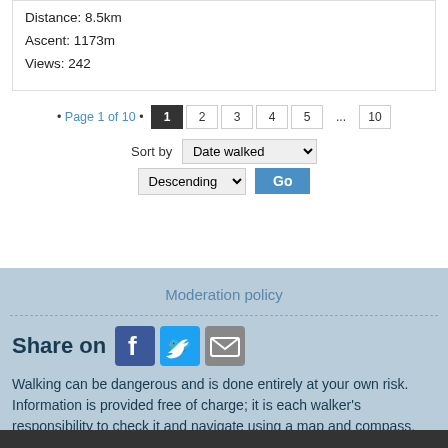Date walked: 10/06/2022
Distance: 8.5km
Ascent: 1173m
Views: 242
• Page 1 of 10 • 1 2 3 4 5 ... 10
Sort by Date walked Descending Go
Moderation policy
Share on
Walking can be dangerous and is done entirely at your own risk. Information is provided free of charge; it is each walker's responsibility to check it and navigate using a map and compass.